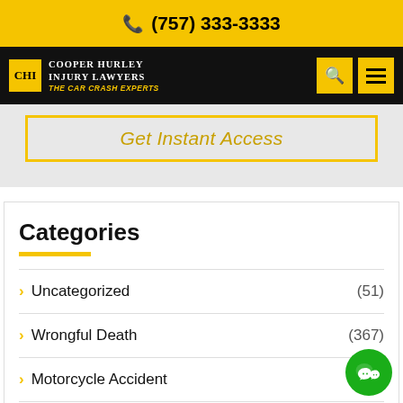(757) 333-3333
[Figure (logo): Cooper Hurley Injury Lawyers – The Car Crash Experts logo on black navigation bar with search and menu icons]
Get Instant Access
Categories
Uncategorized (51)
Wrongful Death (367)
Motorcycle Accident (1__)
Child Injury (87)